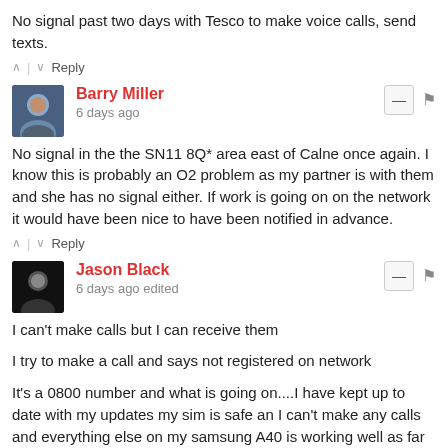No signal past two days with Tesco to make voice calls, send texts.
^ | v  Reply
Barry Miller
6 days ago
No signal in the the SN11 8Q* area east of Calne once again. I know this is probably an O2 problem as my partner is with them and she has no signal either. If work is going on on the network it would have been nice to have been notified in advance.
^ | v  Reply
Jason Black
6 days ago edited
I can't make calls but I can receive them
I try to make a call and says not registered on network
It's a 0800 number and what is going on....I have kept up to date with my updates my sim is safe an I can't make any calls and everything else on my samsung A40 is working well as far